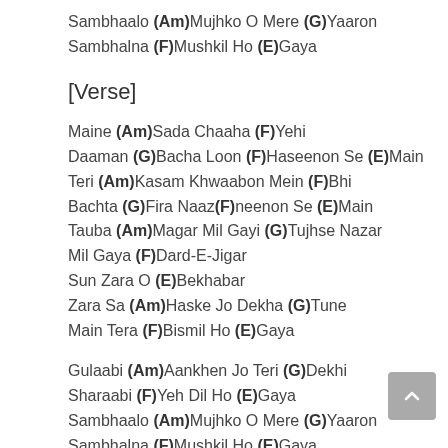Sambhaalo (Am)Mujhko O Mere (G)Yaaron Sambhalna (F)Mushkil Ho (E)Gaya
[Verse]
Maine (Am)Sada Chaaha (F)Yehi Daaman (G)Bacha Loon (F)Haseenon Se (E)Main Teri (Am)Kasam Khwaabon Mein (F)Bhi Bachta (G)Fira Naaz(F)neenon Se (E)Main Tauba (Am)Magar Mil Gayi (G)Tujhse Nazar Mil Gaya (F)Dard-E-Jigar Sun Zara O (E)Bekhabar Zara Sa (Am)Haske Jo Dekha (G)Tune Main Tera (F)Bismil Ho (E)Gaya
Gulaabi (Am)Aankhen Jo Teri (G)Dekhi Sharaabi (F)Yeh Dil Ho (E)Gaya Sambhaalo (Am)Mujhko O Mere (G)Yaaron Sambhalna (F)Mushkil Ho (E)Gaya